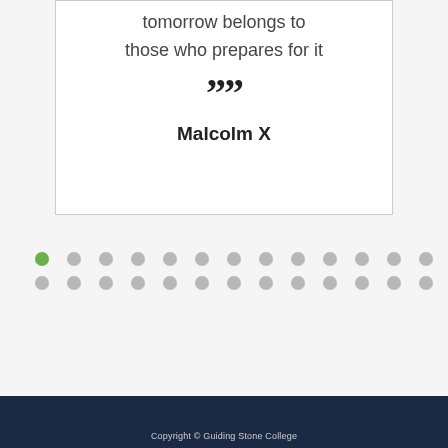tomorrow belongs to those who prepares for it
””
Malcolm X
[Figure (other): Two rows of dots, navigation indicator with one green active dot on the left and grey inactive dots]
Copyright © Guiding Stone College